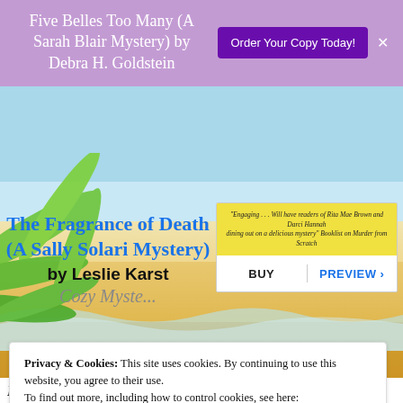Five Belles Too Many (A Sarah Blair Mystery) by Debra H. Goldstein
Order Your Copy Today!
[Figure (screenshot): Book listing card showing a yellow quote box with text 'Engaging... Will have readers of Rita Mae Brown and Darci Hannah dining out on a delicious mystery' Booklist on Murder from Scratch, followed by BUY and PREVIEW buttons]
The Fragrance of Death (A Sally Solari Mystery)
by Leslie Karst
Privacy & Cookies: This site uses cookies. By continuing to use this website, you agree to their use.
To find out more, including how to control cookies, see here: Cookie Policy
Close and accept
Restaurateur Sally Solari has a nose for trouble,